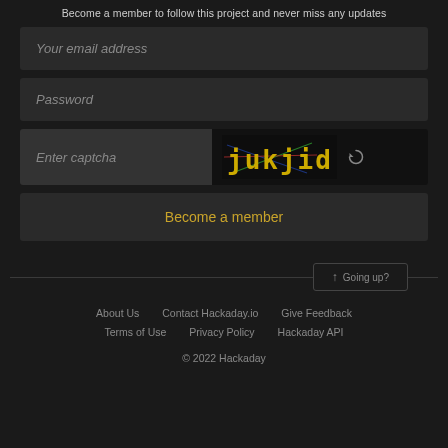Become a member to follow this project and never miss any updates
[Figure (screenshot): Email address input field with placeholder text 'Your email address' on dark background]
[Figure (screenshot): Password input field with placeholder text 'Password' on dark background]
[Figure (screenshot): Captcha row: input field with 'Enter captcha' placeholder and captcha image showing 'jukjid' with colorful lines, plus refresh icon]
[Figure (screenshot): 'Become a member' button in golden/yellow text on dark background]
[Figure (screenshot): 'Going up?' button with up arrow icon, flanked by horizontal divider lines]
About Us   Contact Hackaday.io   Give Feedback
Terms of Use   Privacy Policy   Hackaday API
© 2022 Hackaday